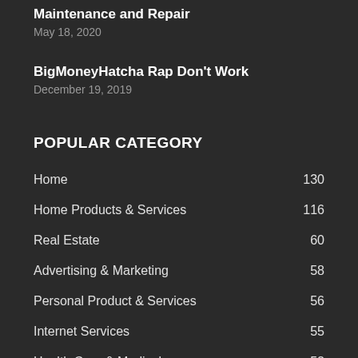Maintenance and Repair
May 18, 2020
BigMoneyHatcha Rap Don't Work
December 19, 2019
POPULAR CATEGORY
Home 130
Home Products & Services 116
Real Estate 60
Advertising & Marketing 58
Personal Product & Services 56
Internet Services 55
Health Care & Medical 52